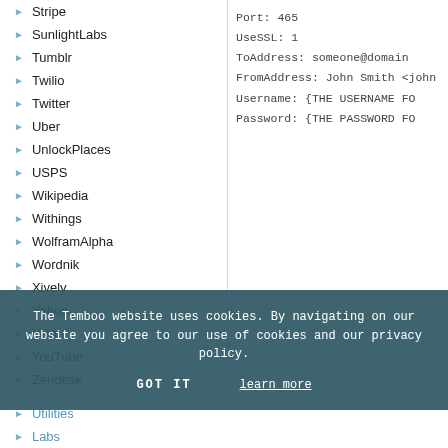Stripe
SunlightLabs
Tumblr
Twilio
Twitter
Uber
UnlockPlaces
USPS
Wikipedia
Withings
WolframAlpha
Wordnik
Xively
Yahoo
Yelp
YouTube
Zendesk
Zillow
Port: 465
UseSSL: 1
ToAddress: someone@domain
FromAddress: John Smith <john
Username: {THE USERNAME FO
Password: {THE PASSWORD FO
The Temboo website uses cookies. By navigating on our website you agree to our use of cookies and our privacy policy.
Utilities
Labs